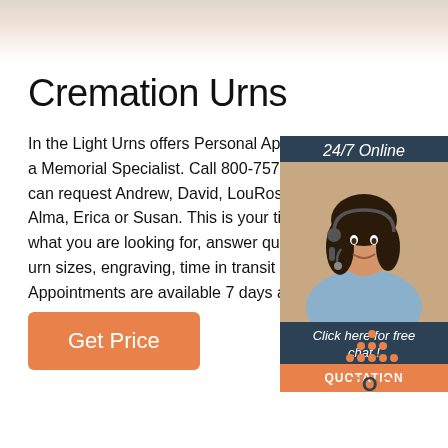[Figure (illustration): Header banner with soft beige/cream gradient background suggesting a sky or soft photo]
Cremation Urns
In the Light Urns offers Personal Appointments with a Memorial Specialist. Call 800-757-348... can request Andrew, David, LouRosa, J... Alma, Erica or Susan. This is your time... what you are looking for, answer questio... urn sizes, engraving, time in transit and... Appointments are available 7 days a we...
[Figure (illustration): Chat widget panel with dark navy background showing '24/7 Online' label, photo of smiling woman with headset in light blue top, 'Click here for free chat!' text, and orange QUOTATION button]
[Figure (illustration): Orange 'Get Price' button]
[Figure (logo): TOP logo with orange dotted triangle/arrow pointing up above the word TOP in orange with letter O in dark navy, indicating scroll-to-top]